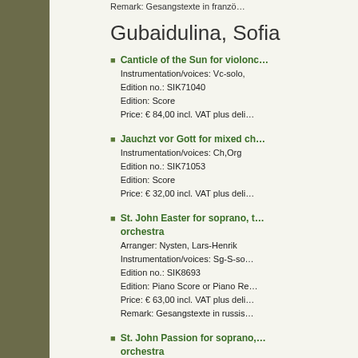Remark: Gesangstexte in franzö…
Gubaidulina, Sofia
Canticle of the Sun for violonc…
Instrumentation/voices: Vc-solo,
Edition no.: SIK71040
Edition: Score
Price: € 84,00 incl. VAT plus deli…
Jauchzt vor Gott for mixed ch…
Instrumentation/voices: Ch,Org
Edition no.: SIK71053
Edition: Score
Price: € 32,00 incl. VAT plus deli…
St. John Easter for soprano, t… orchestra
Arranger: Nysten, Lars-Henrik
Instrumentation/voices: Sg-S-so…
Edition no.: SIK8693
Edition: Piano Score or Piano Re…
Price: € 63,00 incl. VAT plus deli…
Remark: Gesangstexte in russis…
St. John Passion for soprano,… orchestra
Arranger: Nysten, Lars-Henrik
Edition no.: SIK8692
Edition: Piano Score or Piano Re…
Price: € 75,00 incl. VAT plus deli…
Remark: Gesangstexte in russis…
Humphries, Leo…